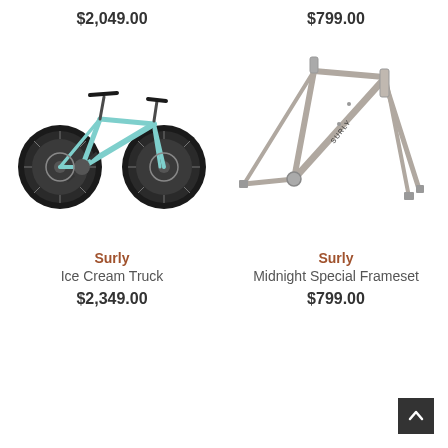$2,049.00
$799.00
[Figure (photo): Surly Ice Cream Truck fat bike in mint/teal color, side view showing large fat tires]
[Figure (photo): Surly Midnight Special Frameset in silver/gray, showing the bare frame triangle and fork]
Surly
Ice Cream Truck
$2,349.00
Surly
Midnight Special Frameset
$799.00